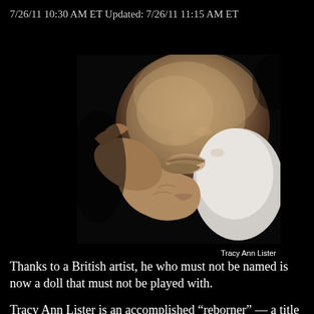7/26/11 10:30 AM ET Updated: 7/26/11 11:15 AM ET
[Figure (photo): Close-up photograph of a hyper-realistic newborn doll (reborn doll) with detailed skin texture, reddish-tinged eyes closed, resting on hands, wearing a white shirt. Photo credit: Tracy Ann Lister.]
Tracy Ann Lister
Thanks to a British artist, he who must not be named is now a doll that must not be played with.
Tracy Ann Lister is an accomplished “reborner” — a title given to artists who specializes in creating incredibly realistic dolls that look like they just popped out of the womb, complete with mottled